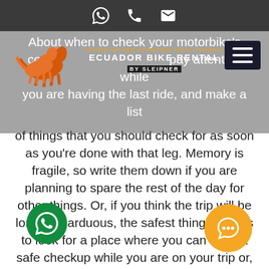Ecuador Bike Rental by Sleipner — navigation bar with WhatsApp, phone, and email icons
[Figure (logo): Orange horse logo with text 'ECUADOR BIKE RENTAL by SLEIPNER' and tagline 'Custom tailored adventure, enjoy yourself']
About when to check your motorbike's condition pay attention while you are having the last ride, and make a list of things that you should check for as soon as you're done with that leg. Memory is fragile, so write them down if you are planning to spare the rest of the day for other things. Or, if you think the trip will be long and arduous, the safest thing to do, is to look for a place where you can have a safe checkup while you are on your trip or, shortly after your return. In addition to the review itself, it is often necessary to replace the components and consumables in the middle of nowhere, so we encourage you to check: